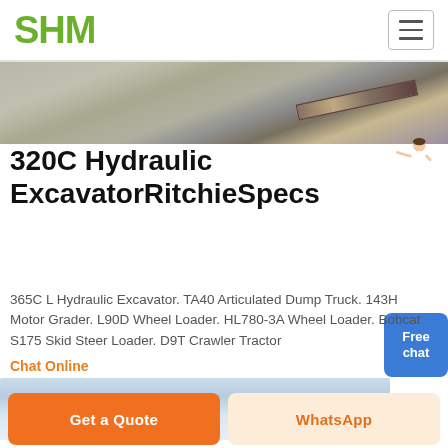SHM
[Figure (photo): Gravel/aggregate pile with conveyor belt at an industrial site]
320C Hydraulic ExcavatorRitchieSpecs
365C L Hydraulic Excavator. TA40 Articulated Dump Truck. 143H Motor Grader. L90D Wheel Loader. HL780-3A Wheel Loader. Bobcat S175 Skid Steer Loader. D9T Crawler Tractor
Chat Online
[Figure (photo): Blue sky with clouds — partial bottom image]
Get a Quote
WhatsApp